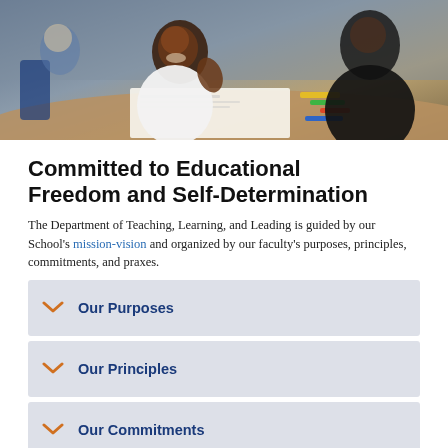[Figure (photo): Photo of a smiling student in a white shirt working at a desk with papers and markers, with an adult in black clothing visible in the background in a classroom setting.]
Committed to Educational Freedom and Self-Determination
The Department of Teaching, Learning, and Leading is guided by our School's mission-vision and organized by our faculty's purposes, principles, commitments, and praxes.
Our Purposes
Our Principles
Our Commitments